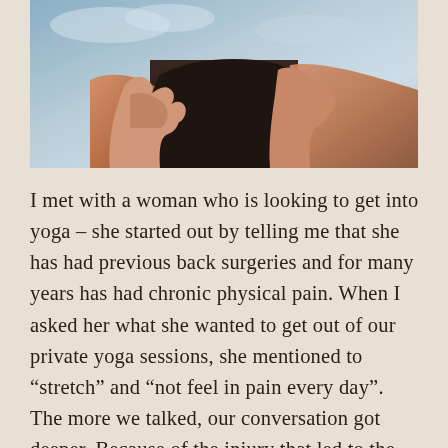[Figure (photo): A woman practicing yoga with hands pressed together at chest level, photographed against a sky background. Only torso and hands visible, wearing dark clothing.]
I met with a woman who is looking to get into yoga – she started out by telling me that she has had previous back surgeries and for many years has had chronic physical pain. When I asked her what she wanted to get out of our private yoga sessions, she mentioned to “stretch” and “not feel in pain every day”. The more we talked, our conversation got deeper. Because of the injury that led to the surgeries, she was laid off from her job, which then led to months of being contained to the home as she could not get around very well